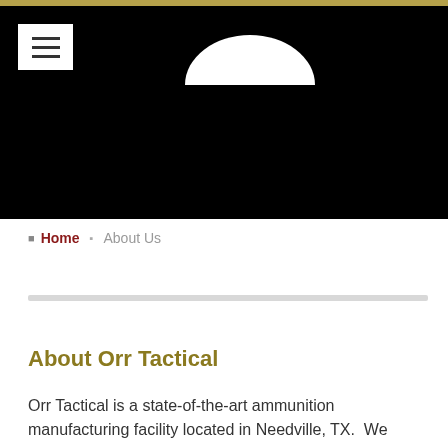[Figure (screenshot): Black website header with gold top bar, white hamburger menu icon button in top-left, and white arch/logo shape in upper center area]
Home  About Us
About Orr Tactical
Orr Tactical is a state-of-the art ammunition manufacturing facility located in Needville, TX.  We